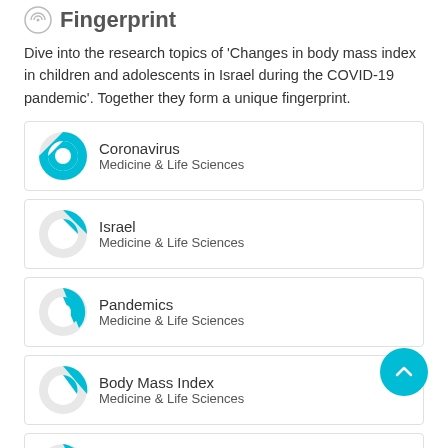Fingerprint
Dive into the research topics of 'Changes in body mass index in children and adolescents in Israel during the COVID-19 pandemic'. Together they form a unique fingerprint.
Coronavirus
Medicine & Life Sciences
Israel
Medicine & Life Sciences
Pandemics
Medicine & Life Sciences
Body Mass Index
Medicine & Life Sciences
Child
Medicine & Life Sciences